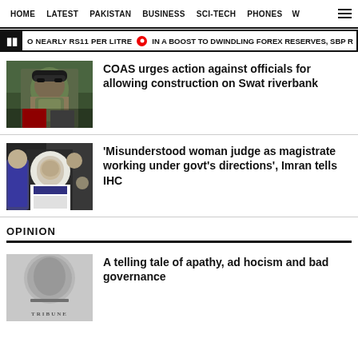HOME  LATEST  PAKISTAN  BUSINESS  SCI-TECH  PHONES  W
O NEARLY RS11 PER LITRE  •  IN A BOOST TO DWINDLING FOREX RESERVES, SBP R
[Figure (photo): Military officer in camouflage uniform speaking into microphones outdoors]
COAS urges action against officials for allowing construction on Swat riverbank
[Figure (photo): Imran Khan in crowd, wearing white shalwar kameez and dark vest]
‘Misunderstood woman judge as magistrate working under govt’s directions’, Imran tells IHC
OPINION
[Figure (logo): Tribune newspaper logo on grey background]
A telling tale of apathy, ad hocism and bad governance